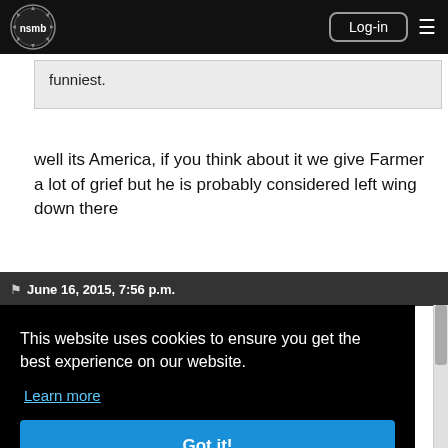nsmb Log-in [menu]
funniest.
well its America, if you think about it we give Farmer a lot of grief but he is probably considered left wing down there
June 16, 2015, 7:56 p.m.
This website uses cookies to ensure you get the best experience on our website.
Learn more
Got it!
Too bad all those Mexicans are rapists and drug dealers!